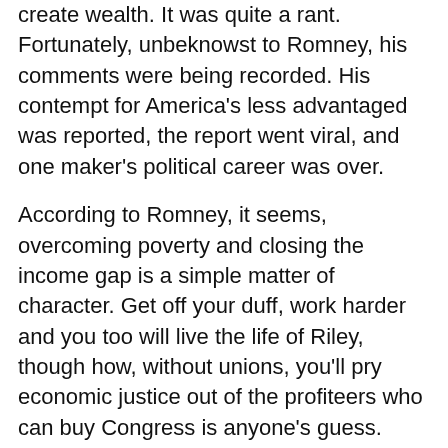create wealth. It was quite a rant. Fortunately, unbeknowst to Romney, his comments were being recorded. His contempt for America's less advantaged was reported, the report went viral, and one maker's political career was over.
According to Romney, it seems, overcoming poverty and closing the income gap is a simple matter of character. Get off your duff, work harder and you too will live the life of Riley, though how, without unions, you'll pry economic justice out of the profiteers who can buy Congress is anyone's guess.
Inequality
Today's super star economist, Frenchman Thomas Picketty, begs to differ with maker Romney. In his data-rich new book Capital, whose title alone is red meat to conservative critics, Picketty concludes that extreme inequality results inevitably from